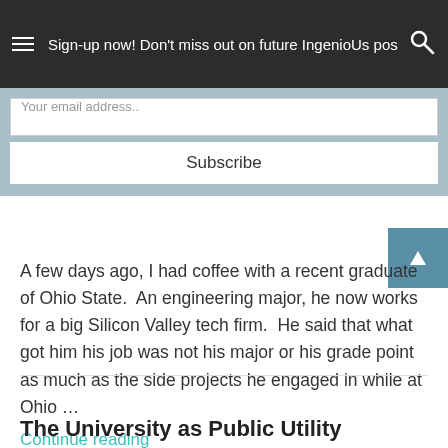Sign-up now! Don't miss out on future IngenioUs pos
Your email address..
Subscribe
A few days ago, I had coffee with a recent graduate of Ohio State.  An engineering major, he now works for a big Silicon Valley tech firm.  He said that what got him his job was not his major or his grade point as much as the side projects he engaged in while at Ohio …
Continue reading
The University as Public Utility